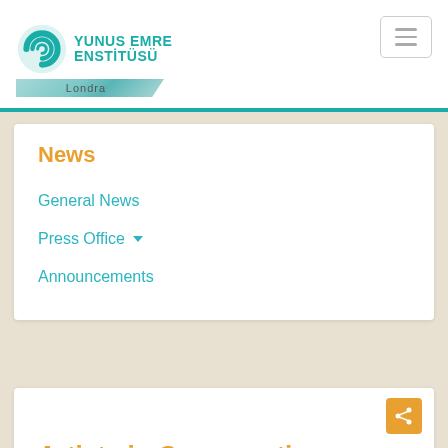[Figure (logo): Yunus Emre Enstitüsü Londra logo with teal spiral G and text]
News
General News
Press Office ▾
Announcements
Artists in Conversation: